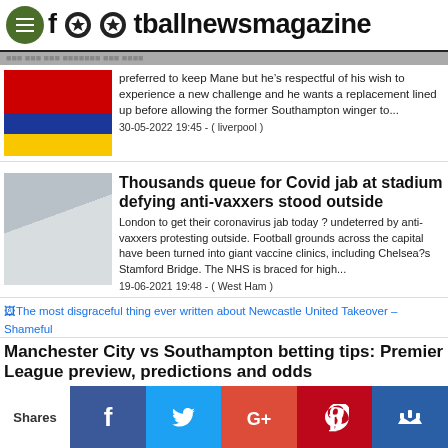footballnewsmagazine
preferred to keep Mane but he’s respectful of his wish to experience a new challenge and he wants a replacement lined up before allowing the former Southampton winger to... 30-05-2022 19:45 - ( liverpool )
Thousands queue for Covid jab at stadium defying anti-vaxxers stood outside
London to get their coronavirus jab today ? undeterred by anti-vaxxers protesting outside. Football grounds across the capital have been turned into giant vaccine clinics, including Chelsea?s Stamford Bridge. The NHS is braced for high... 19-06-2021 19:48 - ( West Ham )
The most disgraceful thing ever written about Newcastle United Takeover – Shameful
Manchester City vs Southampton betting tips: Premier League preview, predictions and odds
Shares